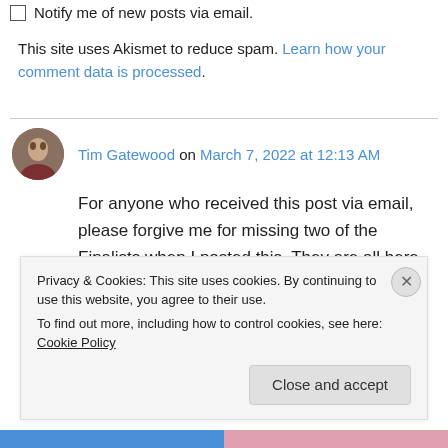Notify me of new posts via email.
This site uses Akismet to reduce spam. Learn how your comment data is processed.
Tim Gatewood on March 7, 2022 at 12:13 AM
For anyone who received this post via email, please forgive me for missing two of the Finalists when I posted this. They are all here now.
Like
Privacy & Cookies: This site uses cookies. By continuing to use this website, you agree to their use.
To find out more, including how to control cookies, see here: Cookie Policy
Close and accept